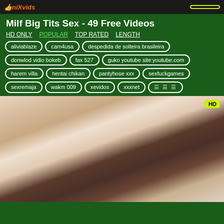Milf Big Tits Sex - 49 Free Videos
HD ONLY   POPULAR   TOP RATED   LENGTH
aliviablaze
cam4usa
despedida de solteira brasileira
donwlod vidio bokeb
fax 527
guko youtube site:youtube.com
harem villa
hentai chikan
pantyhose xxx
sexfuckgames
sexremaja
wakm 009
xevidos
xxxnet
═══ ══ ══
[Figure (photo): Video thumbnail showing two people, with HD badge in top right corner]